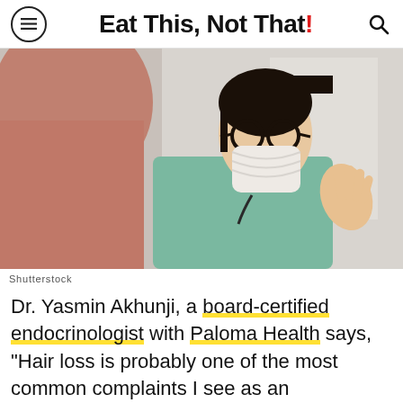Eat This, Not That!
[Figure (photo): A masked Asian female doctor or healthcare professional wearing glasses and teal scrubs, gesturing with her hand while speaking to a patient seen from behind. Medical/healthcare setting.]
Shutterstock
Dr. Yasmin Akhunji, a board-certified endocrinologist with Paloma Health says, "Hair loss is probably one of the most common complaints I see as an endocrinologist. It can